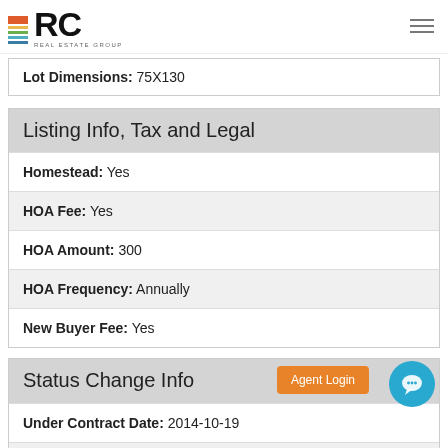RC Real Estate Group
Lot Dimensions: 75X130
Listing Info, Tax and Legal
Homestead: Yes
HOA Fee: Yes
HOA Amount: 300
HOA Frequency: Annually
New Buyer Fee: Yes
Status Change Info
Under Contract Date: 2014-10-19